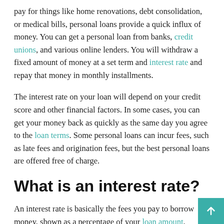pay for things like home renovations, debt consolidation, or medical bills, personal loans provide a quick influx of money. You can get a personal loan from banks, credit unions, and various online lenders. You will withdraw a fixed amount of money at a set term and interest rate and repay that money in monthly installments.
The interest rate on your loan will depend on your credit score and other financial factors. In some cases, you can get your money back as quickly as the same day you agree to the loan terms. Some personal loans can incur fees, such as late fees and origination fees, but the best personal loans are offered free of charge.
What is an interest rate?
An interest rate is basically the fees you pay to borrow money, shown as a percentage of your loan amount. Personal loans almost always have fixed interest rates, although it is possible